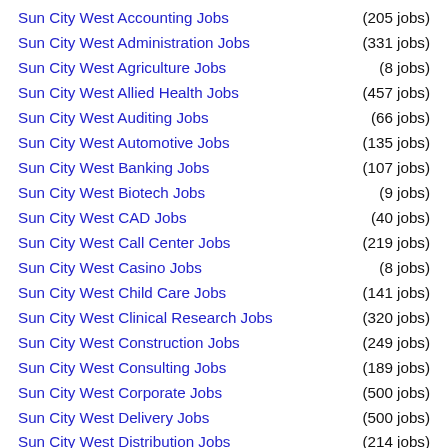Sun City West Accounting Jobs (205 jobs)
Sun City West Administration Jobs (331 jobs)
Sun City West Agriculture Jobs (8 jobs)
Sun City West Allied Health Jobs (457 jobs)
Sun City West Auditing Jobs (66 jobs)
Sun City West Automotive Jobs (135 jobs)
Sun City West Banking Jobs (107 jobs)
Sun City West Biotech Jobs (9 jobs)
Sun City West CAD Jobs (40 jobs)
Sun City West Call Center Jobs (219 jobs)
Sun City West Casino Jobs (8 jobs)
Sun City West Child Care Jobs (141 jobs)
Sun City West Clinical Research Jobs (320 jobs)
Sun City West Construction Jobs (249 jobs)
Sun City West Consulting Jobs (189 jobs)
Sun City West Corporate Jobs (500 jobs)
Sun City West Delivery Jobs (500 jobs)
Sun City West Distribution Jobs (214 jobs)
Sun City West Education Jobs (500 jobs)
Sun City West Engineering Jobs (500 jobs)